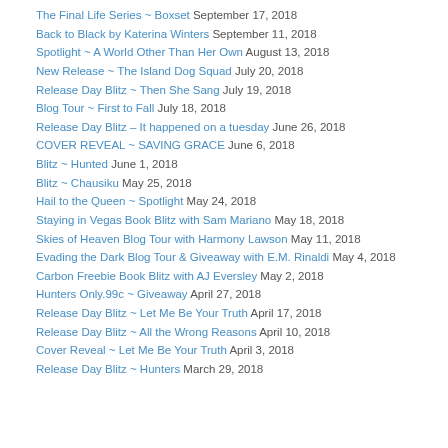The Final Life Series ~ Boxset September 17, 2018
Back to Black by Katerina Winters September 11, 2018
Spotlight ~ A World Other Than Her Own August 13, 2018
New Release ~ The Island Dog Squad July 20, 2018
Release Day Blitz ~ Then She Sang July 19, 2018
Blog Tour ~ First to Fall July 18, 2018
Release Day Blitz – It happened on a tuesday June 26, 2018
COVER REVEAL ~ SAVING GRACE June 6, 2018
Blitz ~ Hunted June 1, 2018
Blitz ~ Chausiku May 25, 2018
Hail to the Queen ~ Spotlight May 24, 2018
Staying in Vegas Book Blitz with Sam Mariano May 18, 2018
Skies of Heaven Blog Tour with Harmony Lawson May 11, 2018
Evading the Dark Blog Tour & Giveaway with E.M. Rinaldi May 4, 2018
Carbon Freebie Book Blitz with AJ Eversley May 2, 2018
Hunters Only.99c ~ Giveaway April 27, 2018
Release Day Blitz ~ Let Me Be Your Truth April 17, 2018
Release Day Blitz ~ All the Wrong Reasons April 10, 2018
Cover Reveal ~ Let Me Be Your Truth April 3, 2018
Release Day Blitz ~ Hunters March 29, 2018